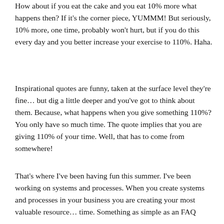How about if you eat the cake and you eat 10% more what happens then?  If it's the corner piece, YUMMM!  But seriously, 10% more, one time, probably won't hurt, but if you do this every day and you better increase your exercise to 110%.  Haha.
Inspirational quotes are funny, taken at the surface level they're fine… but dig a little deeper and you've got to think about them.  Because, what happens when you give something 110%?  You only have so much time.  The quote implies that you are giving 110% of your time.  Well, that has to come from somewhere!
That's where I've been having fun this summer.  I've been working on systems and processes.  When you create systems and processes in your business you are creating your most valuable resource… time.  Something as simple as an FAQ